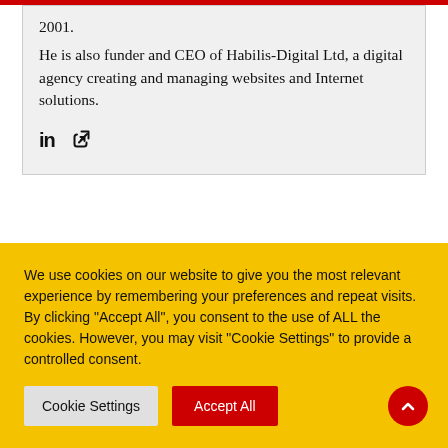2001.
He is also funder and CEO of Habilis-Digital Ltd, a digital agency creating and managing websites and Internet solutions.
[Figure (other): LinkedIn icon and chain/link icon for social media links]
We use cookies on our website to give you the most relevant experience by remembering your preferences and repeat visits. By clicking "Accept All", you consent to the use of ALL the cookies. However, you may visit "Cookie Settings" to provide a controlled consent.